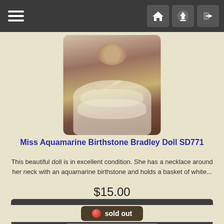Navigation bar with hamburger menu and home/upload/login icons
[Figure (photo): A Miss Aquamarine Birthstone Bradley Doll in a white lace dress holding a floral basket, photographed against a reddish-brown surface, with 'TJ's Attic' watermark]
Miss Aquamarine Birthstone Bradley Doll SD771
This beautiful doll is in excellent condition.  She has a necklace around her neck with an aquamarine birthstone and holds a basket of white...
$15.00
... more info
sold out